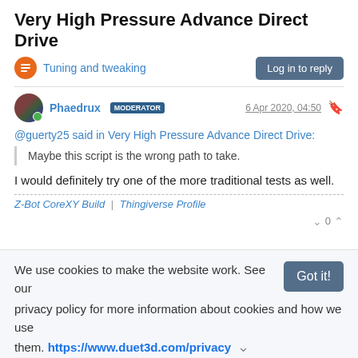Very High Pressure Advance Direct Drive
Tuning and tweaking
Phaedrux MODERATOR  6 Apr 2020, 04:50
@guerty25 said in Very High Pressure Advance Direct Drive:
Maybe this script is the wrong path to take.
I would definitely try one of the more traditional tests as well.
Z-Bot CoreXY Build | Thingiverse Profile
We use cookies to make the website work. See our privacy policy for more information about cookies and how we use them. https://www.duet3d.com/privacy